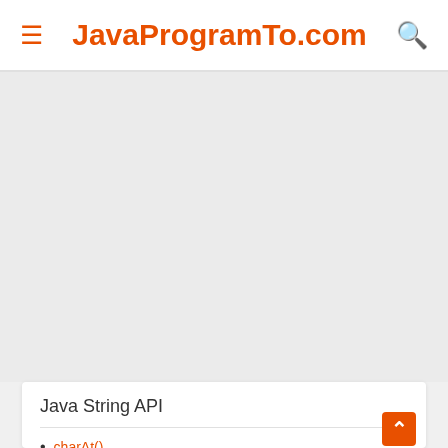JavaProgramTo.com
[Figure (other): Gray advertisement area placeholder]
Java String API
charAt()